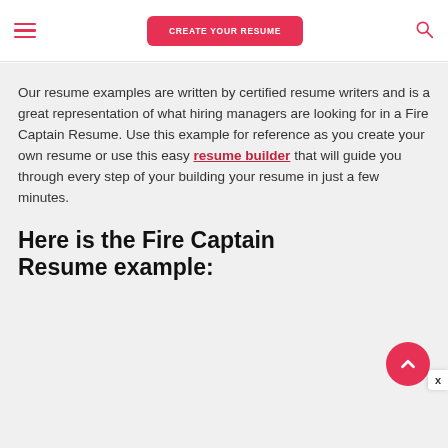CREATE YOUR RESUME
Our resume examples are written by certified resume writers and is a great representation of what hiring managers are looking for in a Fire Captain Resume. Use this example for reference as you create your own resume or use this easy resume builder that will guide you through every step of your building your resume in just a few minutes.
Here is the Fire Captain Resume example: